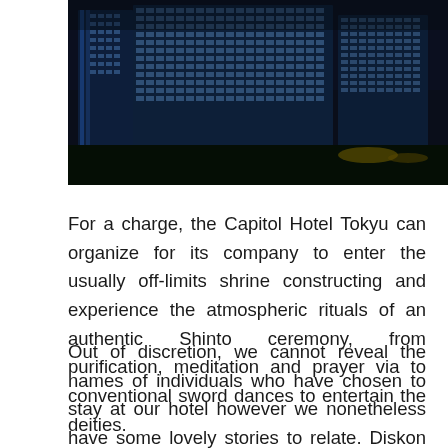[Figure (photo): Night-time photograph of a large illuminated glass skyscraper hotel building, showing a glittering grid of lit windows against a dark sky, with other buildings and a waterfront visible in the background.]
For a charge, the Capitol Hotel Tokyu can organize for its company to enter the usually off-limits shrine constructing and experience the atmospheric rituals of an authentic Shinto ceremony, from purification, meditation and prayer via to conventional sword dances to entertain the deities.
Out of discretion, we cannot reveal the names of individuals who have chosen to stay at our hotel however we nonetheless have some lovely stories to relate. Diskon hotel khusus bagi pelanggan flight, pelanggan e-newsletter dan member Traveloka. One other genuine experience that can be arranged by the hotel for its